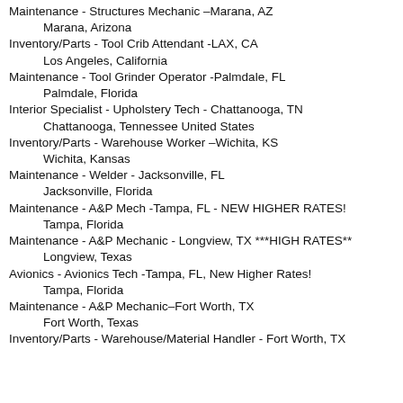Maintenance - Structures Mechanic –Marana, AZ
    Marana, Arizona
Inventory/Parts - Tool Crib Attendant -LAX, CA
    Los Angeles, California
Maintenance - Tool Grinder Operator -Palmdale, FL
    Palmdale, Florida
Interior Specialist - Upholstery Tech - Chattanooga, TN
    Chattanooga, Tennessee United States
Inventory/Parts - Warehouse Worker –Wichita, KS
    Wichita, Kansas
Maintenance - Welder - Jacksonville, FL
    Jacksonville, Florida
Maintenance - A&P Mech -Tampa, FL - NEW HIGHER RATES!
    Tampa, Florida
Maintenance - A&P Mechanic - Longview, TX ***HIGH RATES**
    Longview, Texas
Avionics - Avionics Tech -Tampa, FL, New Higher Rates!
    Tampa, Florida
Maintenance - A&P Mechanic–Fort Worth, TX
    Fort Worth, Texas
Inventory/Parts - Warehouse/Material Handler - Fort Worth, TX